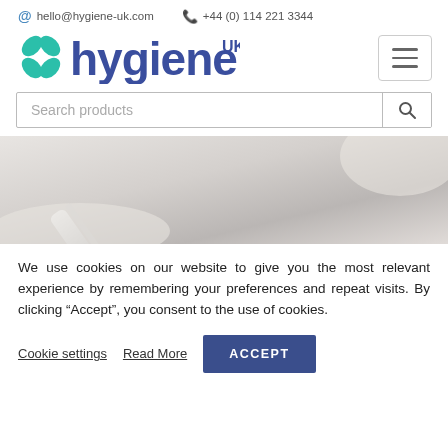@ hello@hygiene-uk.com  +44 (0) 114 221 3344
[Figure (logo): Hygiene UK logo with teal cross-plus icon and blue 'hygiene' text with 'UK' superscript]
Search products
[Figure (photo): Close-up photo of stainless steel dental or medical instrument on a light background]
We use cookies on our website to give you the most relevant experience by remembering your preferences and repeat visits. By clicking “Accept”, you consent to the use of cookies.
Cookie settings   Read More   ACCEPT